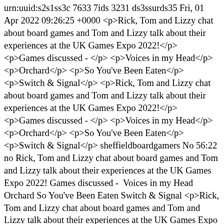urn:uuid:s2s1ss3c 7633 7ids 3231 ds3ssurds35 Fri, 01 Apr 2022 09:26:25 +0000 <p>Rick, Tom and Lizzy chat about board games and Tom and Lizzy talk about their experiences at the UK Games Expo 2022!</p> <p>Games discussed - </p> <p>Voices in my Head</p> <p>Orchard</p> <p>So You've Been Eaten</p> <p>Switch & Signal</p> <p>Rick, Tom and Lizzy chat about board games and Tom and Lizzy talk about their experiences at the UK Games Expo 2022!</p> <p>Games discussed - </p> <p>Voices in my Head</p> <p>Orchard</p> <p>So You've Been Eaten</p> <p>Switch & Signal</p> sheffieldboardgamers No 56:22 no Rick, Tom and Lizzy chat about board games and Tom and Lizzy talk about their experiences at the UK Games Expo 2022! Games discussed -  Voices in my Head Orchard So You've Been Eaten Switch & Signal <p>Rick, Tom and Lizzy chat about board games and Tom and Lizzy talk about their experiences at the UK Games Expo 2022!</p> <p>Games discussed - </p> <p>Voices in my Head</p> <p>Orchard</p> <p>So You've Been Eaten</p> <p>Switch & Signal</p> https://soundcloud.com/lifesapitchpodcast/ds-made-movie Life's a Pitch Podcast urn:uuid:79a69922-87ca-2789-02bb-5f062a153a98 Wed, 29 Jun 2022 20:56:45 +0000 We talk more about the new villain genre and pitch a film about Rita Repulser off of the Power Rangers. This is the deleted scenes for episode 384, you might want to listen to that before listening to this one. Matt and Tom 00:44:54 yes We talk more about the new villain genre and pitc… We talk more about the new villain genre and pitch a film about